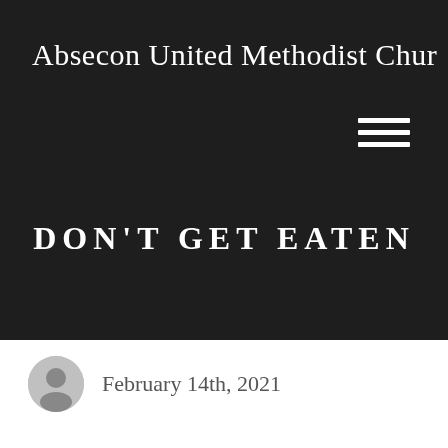Absecon United Methodist Chur
DON'T GET EATEN
February 14th, 2021